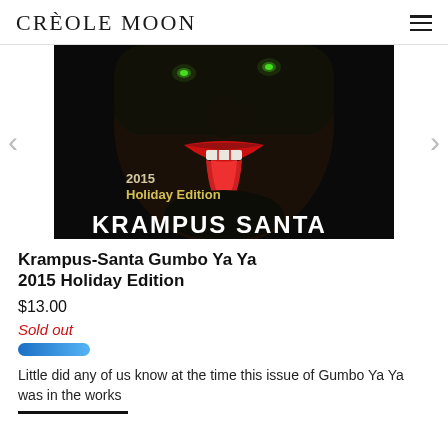CREOLE MOON
[Figure (illustration): Dark horror illustration of Krampus-Santa face with glowing green eyes, red lips and tongue extended, with text '2015 Holiday Edition' and 'KRAMPUS SANTA' at bottom]
Krampus-Santa Gumbo Ya Ya 2015 Holiday Edition
$13.00
Sold out
Little did any of us know at the time this issue of Gumbo Ya Ya was in the works